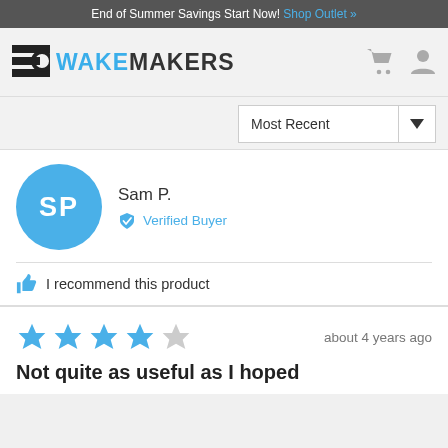End of Summer Savings Start Now! Shop Outlet »
[Figure (logo): WakeMakers logo with magnifying glass icon and blue/dark text]
Most Recent (dropdown)
Sam P.
Verified Buyer
I recommend this product
about 4 years ago
Not quite as useful as I hoped